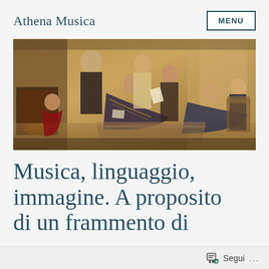Athena Musica
[Figure (illustration): Baroque painting depicting a group of elegantly dressed 18th-century figures in an ornate interior, gathered in conversation — some reclining, some seated, reading from sheets of paper. Warm golden and brown tones.]
Musica, linguaggio, immagine. A proposito di un frammento di
Segui ...